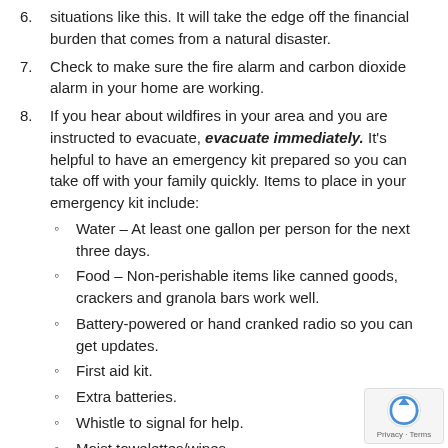situations like this. It will take the edge off the financial burden that comes from a natural disaster.
Check to make sure the fire alarm and carbon dioxide alarm in your home are working.
If you hear about wildfires in your area and you are instructed to evacuate, evacuate immediately. It’s helpful to have an emergency kit prepared so you can take off with your family quickly. Items to place in your emergency kit include:
Water – At least one gallon per person for the next three days.
Food – Non-perishable items like canned goods, crackers and granola bars work well.
Battery-powered or hand cranked radio so you can get updates.
First aid kit.
Extra batteries.
Whistle to signal for help.
Moist towelettes/wipes
Diapers/incontinence products